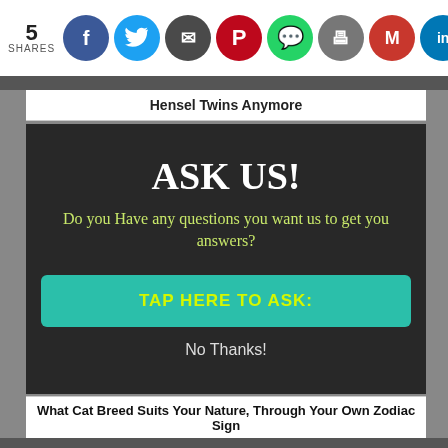5 SHARES — social share icons: Facebook, Twitter, Email, Pinterest, WhatsApp, Print, Gmail, LinkedIn, Google
Hensel Twins Anymore
[Figure (infographic): Dark overlay modal with 'ASK US!' heading, subtitle 'Do you Have any questions you want us to get you answers?', teal button 'TAP HERE TO ASK:', and 'No Thanks!' link]
What Cat Breed Suits Your Nature, Through Your Own Zodiac Sign